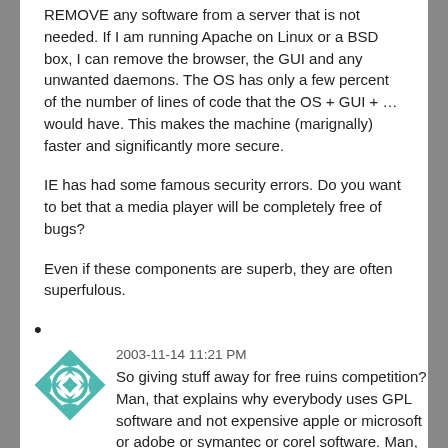REMOVE any software from a server that is not needed. If I am running Apache on Linux or a BSD box, I can remove the browser, the GUI and any unwanted daemons. The OS has only a few percent of the number of lines of code that the OS + GUI + … would have. This makes the machine (marignally) faster and significantly more secure.
IE has had some famous security errors. Do you want to bet that a media player will be completely free of bugs?
Even if these components are superb, they are often superfulous.
•
2003-11-14 11:21 PM
So giving stuff away for free ruins competition? Man, that explains why everybody uses GPL software and not expensive apple or microsoft or adobe or symantec or corel software. Man,